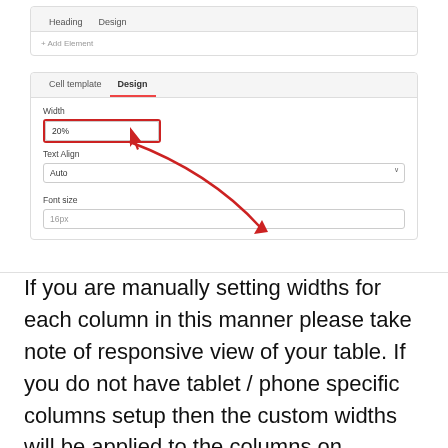[Figure (screenshot): UI panel showing Heading and Design tabs with an Add Element bar, and below it a Cell template / Design tab panel with Width field (20%), Text Align dropdown (Auto), Font size field (16px), with a red arrow annotation pointing from the Width field box to the Text Align area.]
If you are manually setting widths for each column in this manner please take note of responsive view of your table. If you do not have tablet / phone specific columns setup then the custom widths will be applied to the columns on narrowers screens as well.